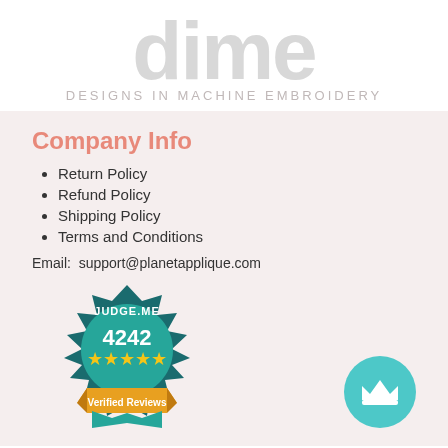[Figure (logo): DIME - Designs in Machine Embroidery logo in large light grey lowercase letters with tagline below]
Company Info
Return Policy
Refund Policy
Shipping Policy
Terms and Conditions
Email: support@planetapplique.com
[Figure (illustration): Judge.me badge showing 4242 verified reviews with 5 stars]
[Figure (illustration): Teal circular button with crown icon]